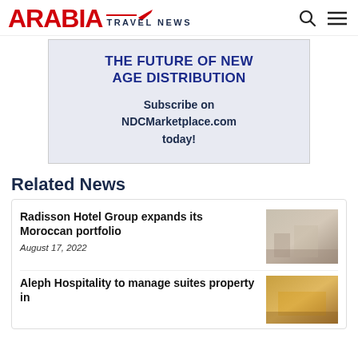ARABIA TRAVEL NEWS
[Figure (screenshot): Advertisement banner with text: THE FUTURE OF NEW AGE DISTRIBUTION. Subscribe on NDCMarketplace.com today!]
Related News
Radisson Hotel Group expands its Moroccan portfolio
August 17, 2022
Aleph Hospitality to manage suites property in